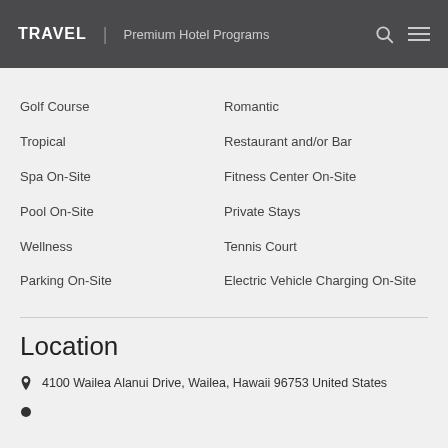TRAVEL | Premium Hotel Programs
Golf Course
Romantic
Tropical
Restaurant and/or Bar
Spa On-Site
Fitness Center On-Site
Pool On-Site
Private Stays
Wellness
Tennis Court
Parking On-Site
Electric Vehicle Charging On-Site
Location
4100 Wailea Alanui Drive, Wailea, Hawaii 96753 United States